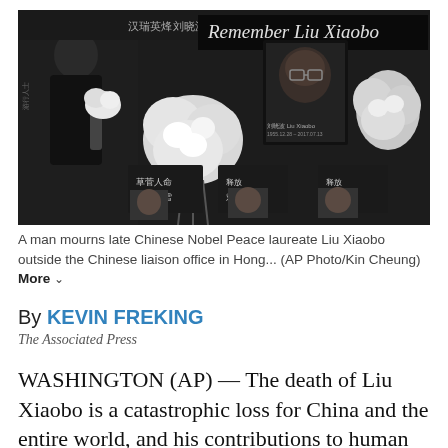[Figure (photo): A man mourns late Chinese Nobel Peace laureate Liu Xiaobo outside the Chinese liaison office in Hong Kong. Flowers, signs, portraits, and memorial tributes visible. A banner reads 'Remember Liu Xiaobo'.]
A man mourns late Chinese Nobel Peace laureate Liu Xiaobo outside the Chinese liaison office in Hong... (AP Photo/Kin Cheung) More
By KEVIN FREKING
The Associated Press
WASHINGTON (AP) — The death of Liu Xiaobo is a catastrophic loss for China and the entire world, and his contributions to human rights should never be forgotten, members of Congress said during a